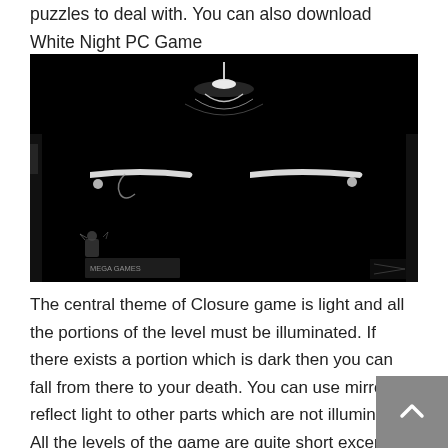puzzles to deal with. You can also download White Night PC Game
[Figure (screenshot): Dark screenshot from Closure game showing illuminated elements including a hanging lamp, decorative brackets and orbs against a black background, with a small character visible at bottom left. Watermark visible at bottom left.]
The central theme of Closure game is light and all the portions of the level must be illuminated. If there exists a portion which is dark then you can fall from there to your death. You can use mirrors to reflect light to other parts which are not illuminated. All the levels of the game are quite short except for the final